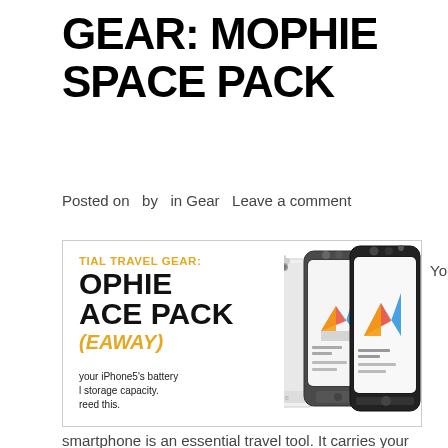GEAR: MOPHIE SPACE PACK
Posted on   by   in Gear   Leave a comment
[Figure (photo): Promotional image for Mophie Space Pack showing three iPhone 5 cases (white, dark gray, black) with text overlaid: 'TIAL TRAVEL GEAR: OPHIE ACE PACK (EAWAY)' in orange and black, and subtext about battery and storage capacity.]
Your
smartphone is an essential travel tool. It carries your mobile